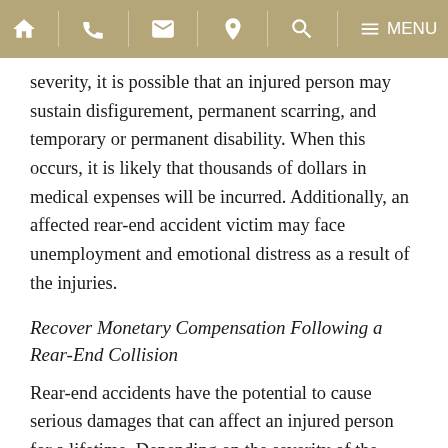Navigation bar with home, phone, email, location, search, and menu icons
severity, it is possible that an injured person may sustain disfigurement, permanent scarring, and temporary or permanent disability. When this occurs, it is likely that thousands of dollars in medical expenses will be incurred. Additionally, an affected rear-end accident victim may face unemployment and emotional distress as a result of the injuries.
Recover Monetary Compensation Following a Rear-End Collision
Rear-end accidents have the potential to cause serious damages that can affect an injured person for a lifetime. Depending on the severity of the accident, an injured person may face costly medical expenses, a loss of income, and pain and suffering. When a rear-end accident occurs, financial compensation may be